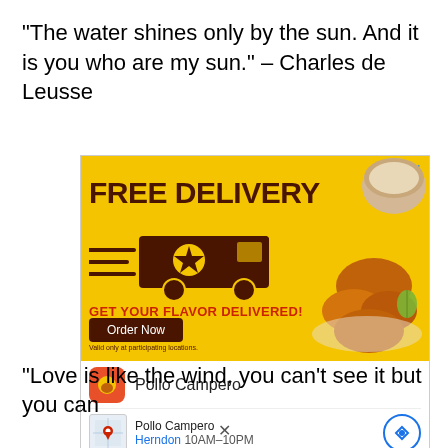“The water shines only by the sun. And it is you who are my sun.” – Charles de Leusse
[Figure (screenshot): Advertisement banner for Pollo Campero Free Delivery. Yellow background with dark brown text reading FREE DELIVERY, an illustration of a delivery truck, fried chicken and rice on the right side. Red text: GET YOUR FLAVOR DELIVERED! Dark brown Order Now button. Below the banner: Pollo Campero logo, name, and location info showing Herndon 10AM-10PM.]
“Love is like the wind, you can’t see it but you can